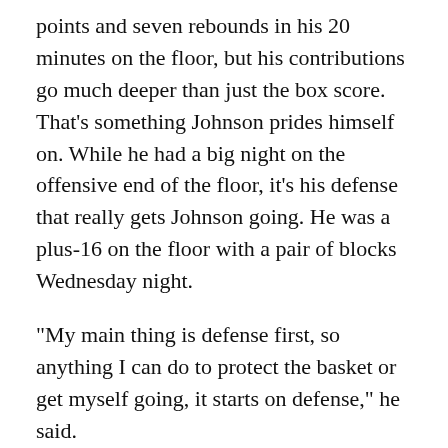points and seven rebounds in his 20 minutes on the floor, but his contributions go much deeper than just the box score. That's something Johnson prides himself on. While he had a big night on the offensive end of the floor, it's his defense that really gets Johnson going. He was a plus-16 on the floor with a pair of blocks Wednesday night.
"My main thing is defense first, so anything I can do to protect the basket or get myself going, it starts on defense," he said.
Whether on the offensive or defensive end of the floor, Johnson just wants to give his new team as big a boost as he can.
"Our goal as our bench is to come in and bring